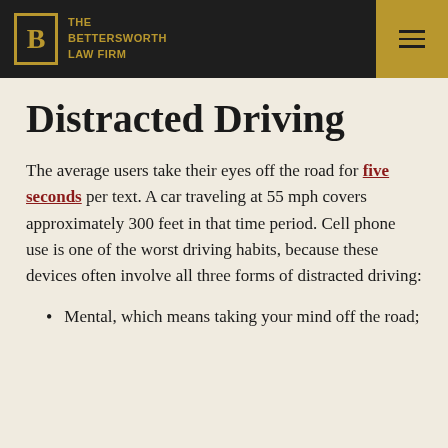THE BETTERSWORTH LAW FIRM
Distracted Driving
The average users take their eyes off the road for five seconds per text. A car traveling at 55 mph covers approximately 300 feet in that time period. Cell phone use is one of the worst driving habits, because these devices often involve all three forms of distracted driving:
Mental, which means taking your mind off the road;